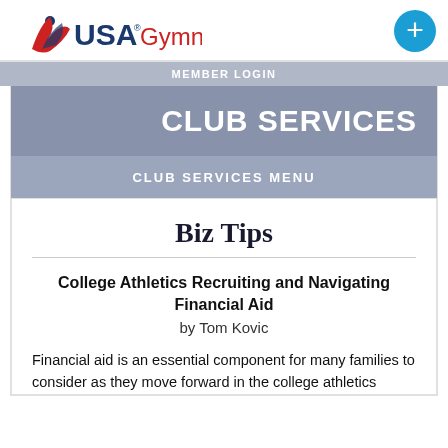USA Gymnastics
MEMBER LOGIN
CLUB SERVICES
CLUB SERVICES MENU
Biz Tips
College Athletics Recruiting and Navigating Financial Aid
by Tom Kovic
Financial aid is an essential component for many families to consider as they move forward in the college athletics